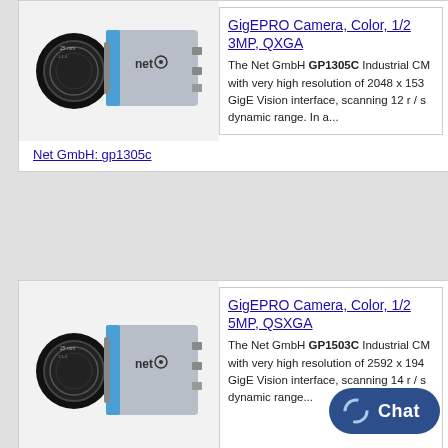[Figure (photo): Net GmbH industrial camera GP1305C with lens, gray and blue body]
GigEPRO Camera, Color, 1/2 3MP, QXGA
The Net GmbH GP1305C Industrial CM with very high resolution of 2048 x 153 GigE Vision interface, scanning 12 r / s dynamic range. In a...
Net GmbH: gp1305c
[Figure (photo): Net GmbH industrial camera GP1503C with lens, gray and blue body]
GigEPRO Camera, Color, 1/2 5MP, QSXGA
The Net GmbH GP1503C Industrial CM with very high resolution of 2592 x 194 GigE Vision interface, scanning 14 r / s dynamic range...